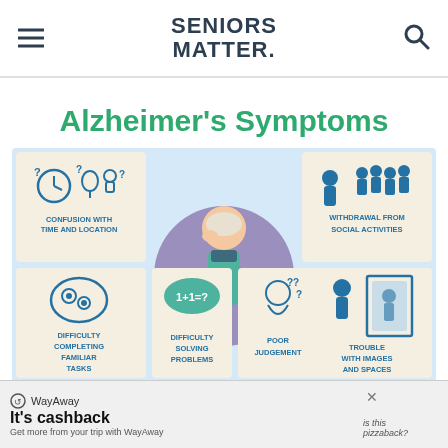SENIORS MATTER.
Alzheimer's Symptoms
[Figure (infographic): Alzheimer's Symptoms infographic showing a confused elderly man in the center surrounded by labeled symptom tiles: Confusion with Time and Location, Withdrawal from Social Activities, Difficulty Completing Familiar Tasks, Difficulty Solving Problems, Poor Judgement, Trouble with Images and Spaces, and partial bottom row tiles.]
WayAway — It's cashback. Get more from your trip with WayAway